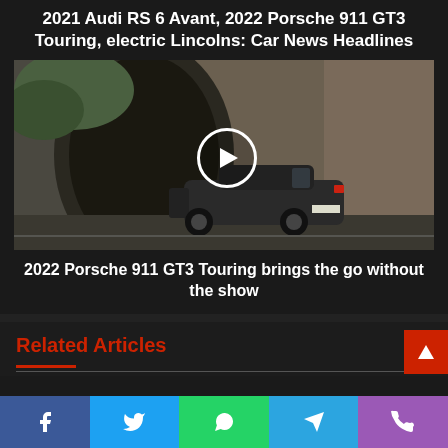2021 Audi RS 6 Avant, 2022 Porsche 911 GT3 Touring, electric Lincolns: Car News Headlines
[Figure (photo): Photo of a dark Porsche 911 GT3 Touring driving through a mountain tunnel, with a white circular play button overlay indicating a video]
2022 Porsche 911 GT3 Touring brings the go without the show
Related Articles
[Figure (other): Social media share buttons: Facebook, Twitter, WhatsApp, Telegram, Phone]